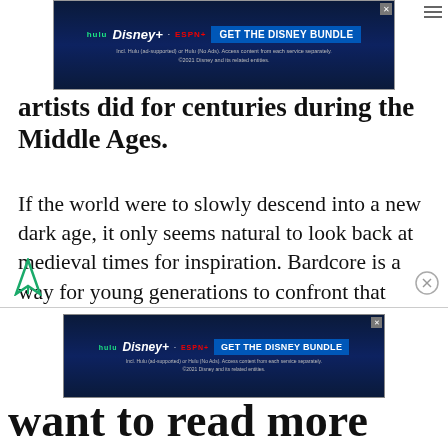[Figure (other): Advertisement banner for Disney Bundle (Hulu, Disney+, ESPN+) at top of page]
artists did for centuries during the Middle Ages.
If the world were to slowly descend into a new dark age, it only seems natural to look back at medieval times for inspiration. Bardcore is a way for young generations to confront that impending feeling of doom with absurd humour while also building new communities around shared interests. After all, the world might be ending but the memes were fun.
[Figure (other): Advertisement banner for Disney Bundle (Hulu, Disney+, ESPN+) at bottom of page, with partial 'want to read more' text below]